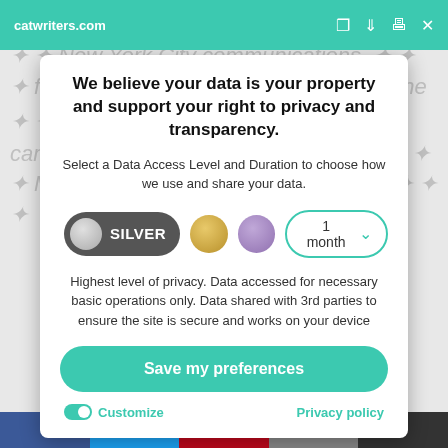catwriters.com
We believe your data is your property and support your right to privacy and transparency.
Select a Data Access Level and Duration to choose how we use and share your data.
[Figure (infographic): Privacy level selector with Silver toggle pill, gold circle, purple circle, and 1 month dropdown]
Highest level of privacy. Data accessed for necessary basic operations only. Data shared with 3rd parties to ensure the site is secure and works on your device
Save my preferences
Customize
Privacy policy